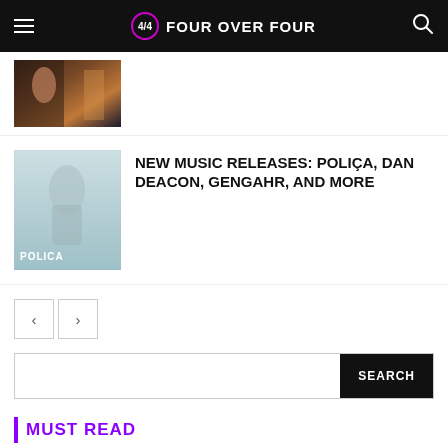FOUR OVER FOUR
[Figure (photo): Partial thumbnail of a previous article showing people in warm lighting]
[Figure (photo): Album/artist thumbnail with light blue-gray tones and text POLICA at bottom]
NEW MUSIC RELEASES: POLIÇA, DAN DEACON, GENGAHR, AND MORE
< >
SEARCH
MUST READ
Who started rap? A brief summary on the history of rap and hip-hop